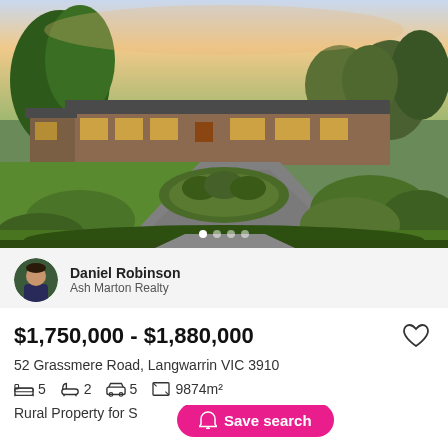[Figure (photo): Exterior photo of a large single-storey brick house with a circular garden bed and driveway, surrounded by lush green trees and lawn, photographed at dusk.]
Daniel Robinson
Ash Marton Realty
$1,750,000 - $1,880,000
52 Grassmere Road, Langwarrin VIC 3910
5 bedrooms  2 bathrooms  5 car spaces  9874m²
Rural Property for Sale  ...  mely
Save search